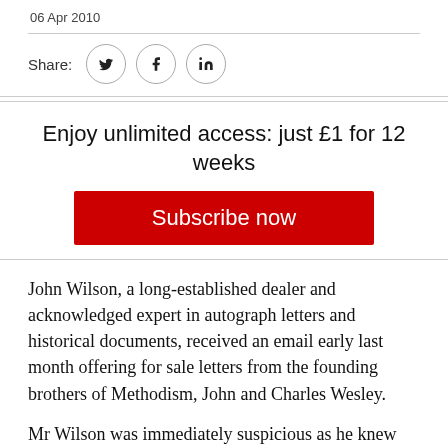06 Apr 2010
[Figure (infographic): Share icons row with Twitter, Facebook, and LinkedIn circle buttons]
Enjoy unlimited access: just £1 for 12 weeks
Subscribe now
John Wilson, a long-established dealer and acknowledged expert in autograph letters and historical documents, received an email early last month offering for sale letters from the founding brothers of Methodism, John and Charles Wesley.
Mr Wilson was immediately suspicious as he knew that at least one of the letters from Charles Wesley to the Countess of Huntington was unlikely to be in private